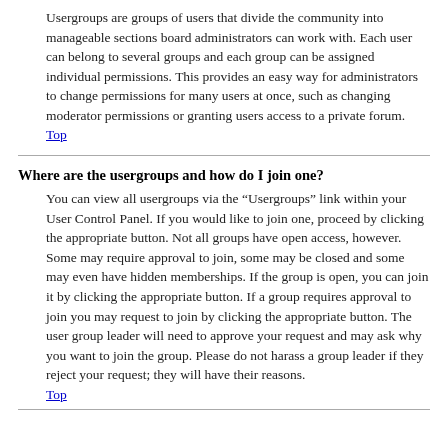Usergroups are groups of users that divide the community into manageable sections board administrators can work with. Each user can belong to several groups and each group can be assigned individual permissions. This provides an easy way for administrators to change permissions for many users at once, such as changing moderator permissions or granting users access to a private forum.
Top
Where are the usergroups and how do I join one?
You can view all usergroups via the “Usergroups” link within your User Control Panel. If you would like to join one, proceed by clicking the appropriate button. Not all groups have open access, however. Some may require approval to join, some may be closed and some may even have hidden memberships. If the group is open, you can join it by clicking the appropriate button. If a group requires approval to join you may request to join by clicking the appropriate button. The user group leader will need to approve your request and may ask why you want to join the group. Please do not harass a group leader if they reject your request; they will have their reasons.
Top